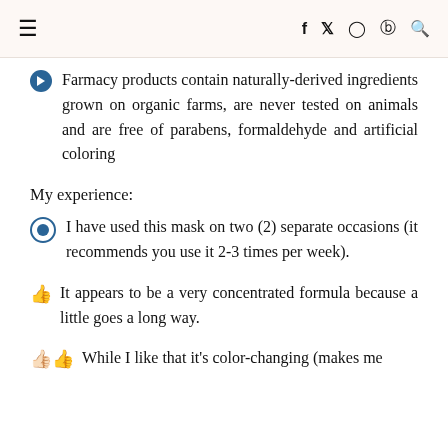≡  f  y  ⊙  ⊕  🔍
Farmacy products contain naturally-derived ingredients grown on organic farms, are never tested on animals and are free of parabens, formaldehyde and artificial coloring
My experience:
I have used this mask on two (2) separate occasions (it recommends you use it 2-3 times per week).
👍 It appears to be a very concentrated formula because a little goes a long way.
👍👍 While I like that it's color-changing (makes me